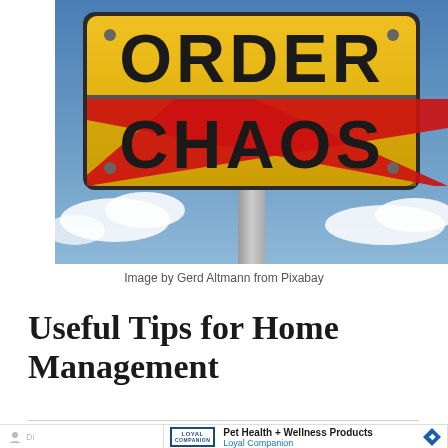[Figure (photo): A yellow road sign showing 'ORDER' on top and 'CHAOS' on the bottom section with a red diagonal strikethrough line crossing the sign, set against a blue sky with clouds.]
Image by Gerd Altmann from Pixabay
Useful Tips for Home Management
Pet Health + Wellness Products Loyal Companion